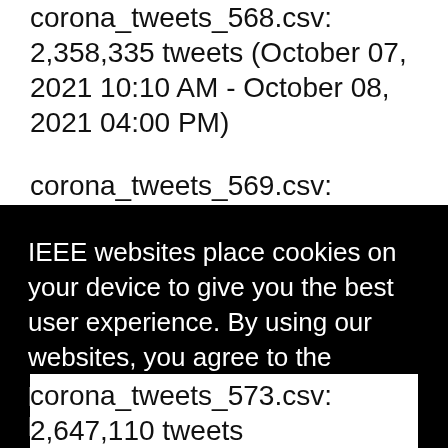corona_tweets_568.csv: 2,358,335 tweets (October 07, 2021 10:10 AM - October 08, 2021 04:00 PM)
corona_tweets_569.csv: 1,411,691 tweets (October 08, 2021 04:00 PM - October 09, 2021 10:10 AM)
corona_tweets_570.csv: 1,410,813 tweets
IEEE websites place cookies on your device to give you the best user experience. By using our websites, you agree to the placement of these cookies. To learn more, read our Privacy Policy.
corona_tweets_573.csv: 2,647,110 tweets